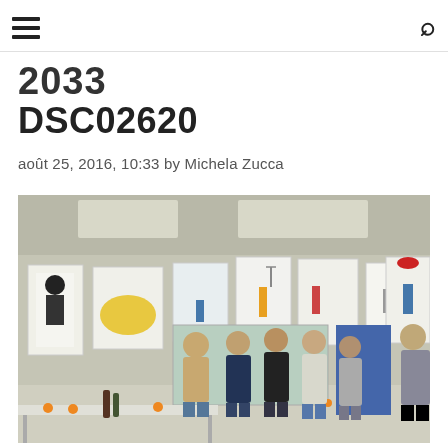2033
DSC02620
août 25, 2016, 10:33 by Michela Zucca
[Figure (photo): Indoor art exhibition room with Smurf character paintings/posters hung on concrete walls. Several people standing and conversing. Tables in foreground with bottles and oranges.]